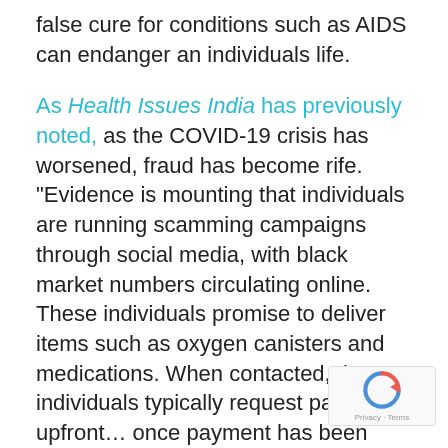false cure for conditions such as AIDS can endanger an individuals life.
As Health Issues India has previously noted, as the COVID-19 crisis has worsened, fraud has become rife. "Evidence is mounting that individuals are running scamming campaigns through social media, with black market numbers circulating online. These individuals promise to deliver items such as oxygen canisters and medications. When contacted, these individuals typically request payments upfront… once payment has been made all contact will cease."
Such individuals peddling scams and false hopes are dangerous, putting lives on the line